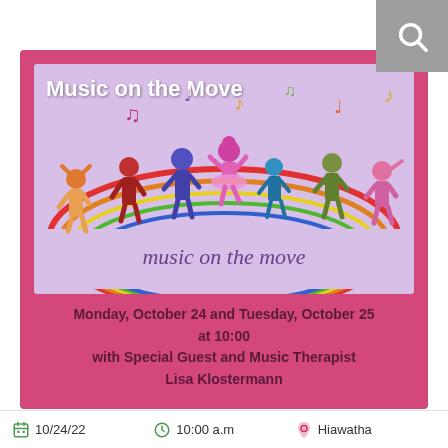[Figure (illustration): Search icon in grey square in top right corner]
[Figure (illustration): Music on the Move event flyer with colorful cartoon children dancing on a rainbow, musical notes floating around, and logo text 'music on the move' in purple italic below]
Monday, October 24 and Tuesday, October 25 at 10:00 with Special Guest and Music Therapist Lisa Klostermann
10/24/22   10:00 a.m   Hiawatha